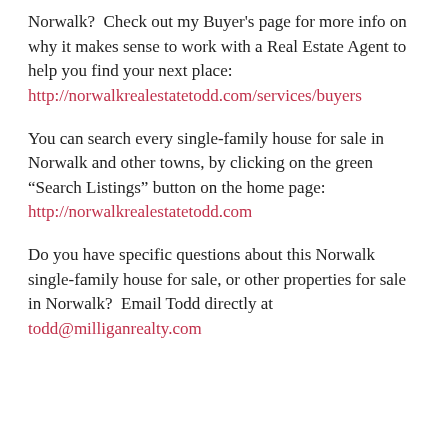Norwalk?  Check out my Buyer's page for more info on why it makes sense to work with a Real Estate Agent to help you find your next place: http://norwalkrealestatetodd.com/services/buyers
You can search every single-family house for sale in Norwalk and other towns, by clicking on the green "Search Listings" button on the home page: http://norwalkrealestatetodd.com
Do you have specific questions about this Norwalk single-family house for sale, or other properties for sale in Norwalk?  Email Todd directly at todd@milliganrealty.com